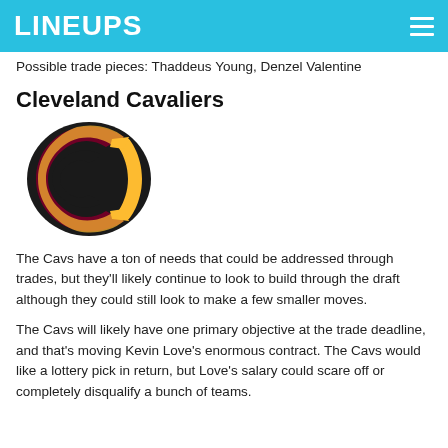LINEUPS
Possible trade pieces: Thaddeus Young, Denzel Valentine
Cleveland Cavaliers
[Figure (logo): Cleveland Cavaliers logo — a stylized C in dark red/maroon with gold outline on dark background]
The Cavs have a ton of needs that could be addressed through trades, but they'll likely continue to look to build through the draft although they could still look to make a few smaller moves.
The Cavs will likely have one primary objective at the trade deadline, and that's moving Kevin Love's enormous contract. The Cavs would like a lottery pick in return, but Love's salary could scare off or completely disqualify a bunch of teams.